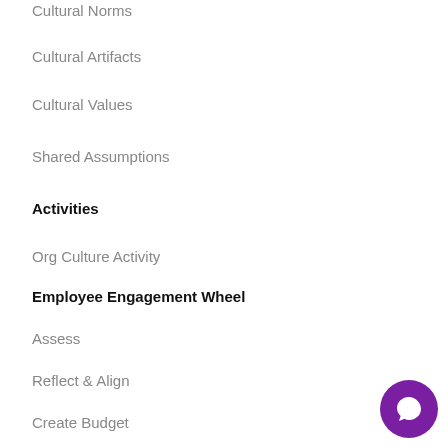Cultural Norms
Cultural Artifacts
Cultural Values
Shared Assumptions
Activities
Org Culture Activity
Employee Engagement Wheel
Assess
Reflect & Align
Create Budget